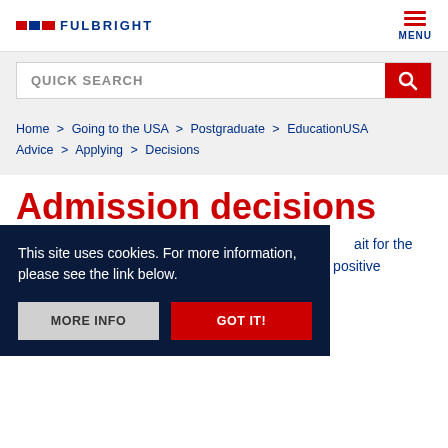FULBRIGHT MENU
QUICK SEARCH
Home > Going to the USA > Postgraduate > EducationUSA Advice > Applying > Decisions
Admission decisions
Once you've applied to universities, all you can do is wait for the decisions. As an international student, you'd love a positive outcome and it's natural to worry. But the decisions matter whatever course of action you decide to take.
There are three types of decision:
This site uses cookies. For more information, please see the link below.
MORE INFO
GOT IT!